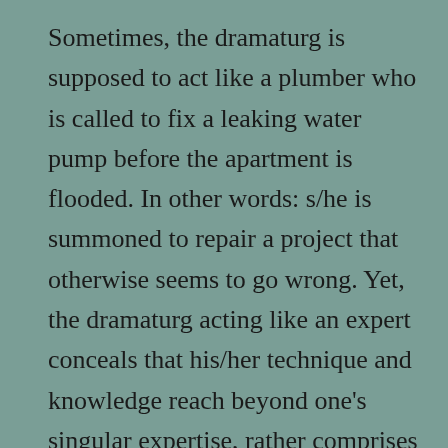Sometimes, the dramaturg is supposed to act like a plumber who is called to fix a leaking water pump before the apartment is flooded. In other words: s/he is summoned to repair a project that otherwise seems to go wrong. Yet, the dramaturg acting like an expert conceals that his/her technique and knowledge reach beyond one's singular expertise, rather comprises strategies of potential meaning-making within a pre-given horizon of expectation and cultural reference. In other words: everyone can act like his/her own plumber once s/he understands the functioning of